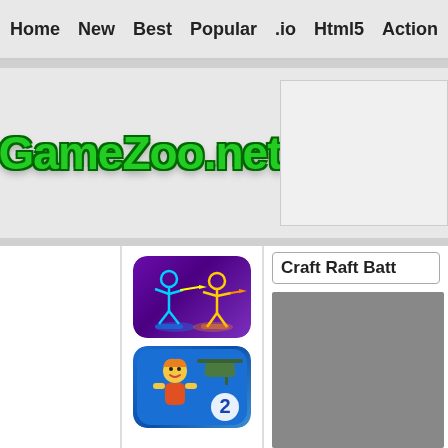Home  New  Best  Popular  .io  Html5  Action  Funny  Classic  S
[Figure (logo): GameZoo.net logo in bold green text with dark outline on light grey background]
Craft Raft Batt
[Figure (illustration): Stickman fighting game thumbnail - two stick figures with guns on purple/violet background]
[Figure (illustration): Action game thumbnail - cartoon character with helicopter on blue background, sequel game '2']
[Figure (screenshot): Game preview area - grey rectangle placeholder for Craft Raft Battle game]